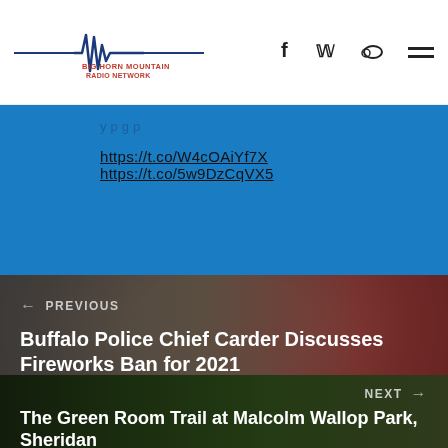Big Horn Mountain Radio Network
https://t.co/W4cOAiYf7X https://t.co/5w9DzCqVX5
[Figure (photo): Thumbnail photo of a man smiling, used as background for previous post navigation]
← PREVIOUS
Buffalo Police Chief Carder Discusses Fireworks Ban for 2021
[Figure (photo): Thumbnail photo of green hillside/trail, used as background for next post navigation]
NEXT →
The Green Room Trail at Malcolm Wallop Park, Sheridan